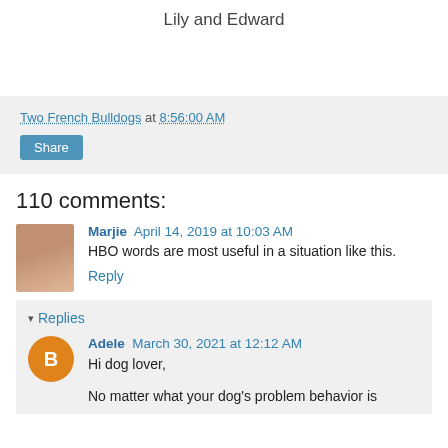Lily and Edward
Two French Bulldogs at 8:56:00 AM
Share
110 comments:
Marjie April 14, 2019 at 10:03 AM
HBO words are most useful in a situation like this.
Reply
Replies
Adele March 30, 2021 at 12:12 AM
Hi dog lover,
No matter what your dog's problem behavior is